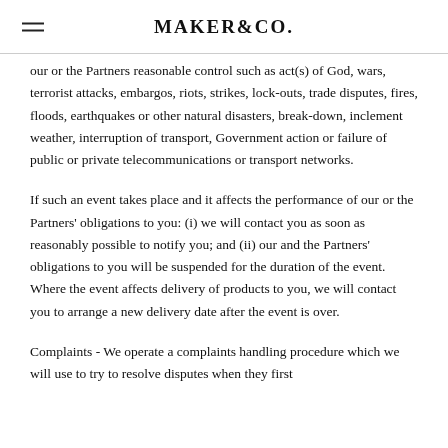MAKER&CO.
our or the Partners reasonable control such as act(s) of God, wars, terrorist attacks, embargos, riots, strikes, lock-outs, trade disputes, fires, floods, earthquakes or other natural disasters, break-down, inclement weather, interruption of transport, Government action or failure of public or private telecommunications or transport networks.
If such an event takes place and it affects the performance of our or the Partners' obligations to you: (i) we will contact you as soon as reasonably possible to notify you; and (ii) our and the Partners' obligations to you will be suspended for the duration of the event. Where the event affects delivery of products to you, we will contact you to arrange a new delivery date after the event is over.
Complaints - We operate a complaints handling procedure which we will use to try to resolve disputes when they first